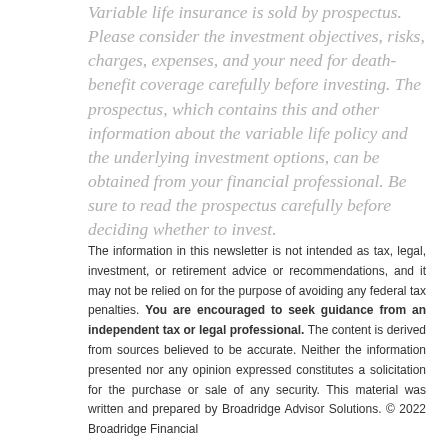Variable life insurance is sold by prospectus. Please consider the investment objectives, risks, charges, expenses, and your need for death-benefit coverage carefully before investing. The prospectus, which contains this and other information about the variable life policy and the underlying investment options, can be obtained from your financial professional. Be sure to read the prospectus carefully before deciding whether to invest.
The information in this newsletter is not intended as tax, legal, investment, or retirement advice or recommendations, and it may not be relied on for the purpose of avoiding any federal tax penalties. You are encouraged to seek guidance from an independent tax or legal professional. The content is derived from sources believed to be accurate. Neither the information presented nor any opinion expressed constitutes a solicitation for the purchase or sale of any security. This material was written and prepared by Broadridge Advisor Solutions. © 2022 Broadridge Financial